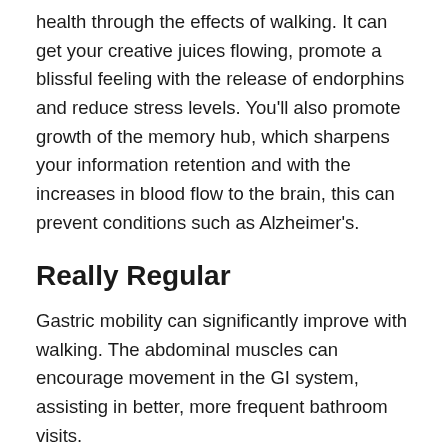health through the effects of walking. It can get your creative juices flowing, promote a blissful feeling with the release of endorphins and reduce stress levels. You'll also promote growth of the memory hub, which sharpens your information retention and with the increases in blood flow to the brain, this can prevent conditions such as Alzheimer's.
Really Regular
Gastric mobility can significantly improve with walking. The abdominal muscles can encourage movement in the GI system, assisting in better, more frequent bathroom visits.